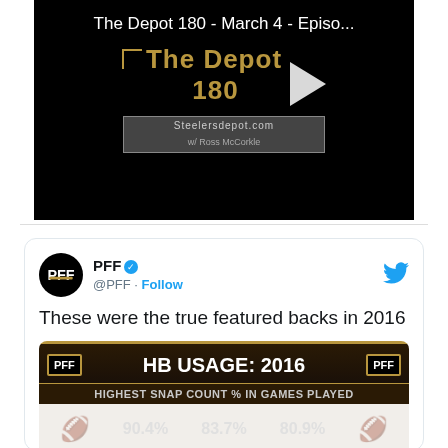[Figure (screenshot): Video thumbnail for 'The Depot 180 - March 4 - Episo...' showing The Depot 180 logo with play button and Steelersdepot.com branding with Ross McCorkle host credit]
[Figure (screenshot): Embedded tweet from @PFF (verified) with text 'These were the true featured backs in 2016' and a PFF graphic showing HB USAGE: 2016 with HIGHEST SNAP COUNT % IN GAMES PLAYED, showing stats 90.4%, 83.7%, 80.9%]